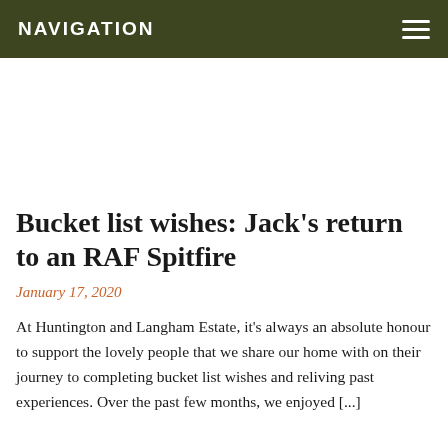NAVIGATION
Bucket list wishes: Jack's return to an RAF Spitfire
January 17, 2020
At Huntington and Langham Estate, it's always an absolute honour to support the lovely people that we share our home with on their journey to completing bucket list wishes and reliving past experiences. Over the past few months, we enjoyed [...]